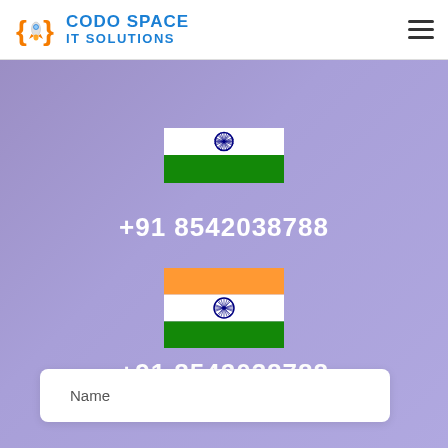[Figure (logo): Codo Space IT Solutions logo with rocket icon and blue text]
[Figure (illustration): Indian national flag, partial view (white stripe with Ashoka Chakra and green stripe visible)]
+91 8542038788
[Figure (illustration): Indian national flag (full view with orange, white and green stripes and Ashoka Chakra)]
+91 8542038788
Name